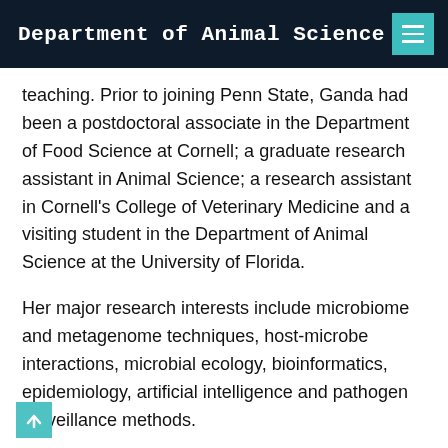Department of Animal Science
teaching. Prior to joining Penn State, Ganda had been a postdoctoral associate in the Department of Food Science at Cornell; a graduate research assistant in Animal Science; a research assistant in Cornell's College of Veterinary Medicine and a visiting student in the Department of Animal Science at the University of Florida.
Her major research interests include microbiome and metagenome techniques, host-microbe interactions, microbial ecology, bioinformatics, epidemiology, artificial intelligence and pathogen surveillance methods.
She is a member of the American Association of Bovine Practitioners (AABP), the American Dairy Science Association (ADSA), and the National Mastitis Council